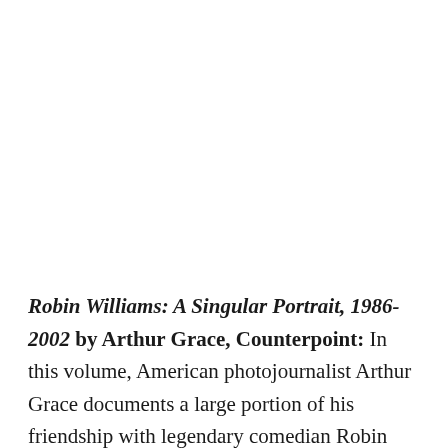Robin Williams: A Singular Portrait, 1986-2002 by Arthur Grace, Counterpoint: In this volume, American photojournalist Arthur Grace documents a large portion of his friendship with legendary comedian Robin Williams, who died in 2014. The duo met each other in 1986 at a Pittsburgh comedy club, and remained close over the years. Look out for 150 photographs of Williams, which are said to bring readers